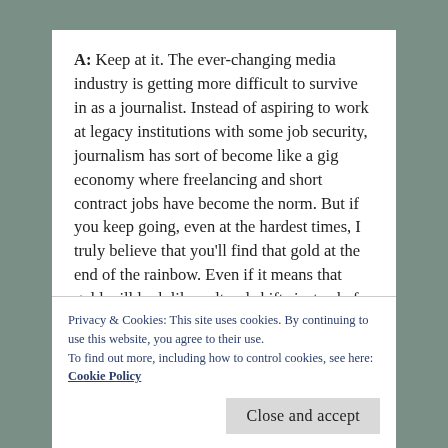A: Keep at it. The ever-changing media industry is getting more difficult to survive in as a journalist. Instead of aspiring to work at legacy institutions with some job security, journalism has sort of become like a gig economy where freelancing and short contract jobs have become the norm. But if you keep going, even at the hardest times, I truly believe that you'll find that gold at the end of the rainbow. Even if it means that gold will look like cultural shifts instead of actual, literal money.
I truly believe that if we provide what the world is
Privacy & Cookies: This site uses cookies. By continuing to use this website, you agree to their use.
To find out more, including how to control cookies, see here: Cookie Policy
Close and accept